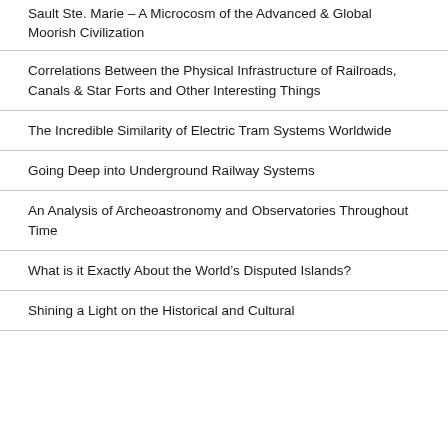Sault Ste. Marie – A Microcosm of the Advanced & Global Moorish Civilization
Correlations Between the Physical Infrastructure of Railroads, Canals & Star Forts and Other Interesting Things
The Incredible Similarity of Electric Tram Systems Worldwide
Going Deep into Underground Railway Systems
An Analysis of Archeoastronomy and Observatories Throughout Time
What is it Exactly About the World's Disputed Islands?
Shining a Light on the Historical and Cultural